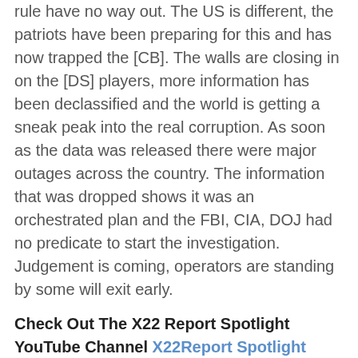rule have no way out. The US is different, the patriots have been preparing for this and has now trapped the [CB]. The walls are closing in on the [DS] players, more information has been declassified and the world is getting a sneak peak into the real corruption. As soon as the data was released there were major outages across the country. The information that was dropped shows it was an orchestrated plan and the FBI, CIA, DOJ had no predicate to start the investigation. Judgement is coming, operators are standing by some will exit early.
Check Out The X22 Report Spotlight YouTube Channel X22Report Spotlight
Please check Newzsentinel.com for the latest news on the economic collapse. The Sentinel Alerts are updated throughout the day.